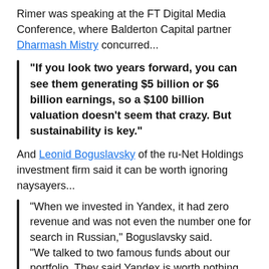Rimer was speaking at the FT Digital Media Conference, where Balderton Capital partner Dharmash Mistry concurred...
“If you look two years forward, you can see them generating $5 billion or $6 billion earnings, so a $100 billion valuation doesn’t seem that crazy. But sustainability is key.”
And Leonid Boguslavsky of the ru-Net Holdings investment firm said it can be worth ignoring naysayers...
“When we invested in Yandex, it had zero revenue and was not even the number one for search in Russian,” Boguslavsky said. “We talked to two famous funds about our portfolio. They said Yandex is worth nothing. They were smart people with a lot of experience.” ru-Net pressed ahead, investing $10 million and helping Yandex corner the fast-